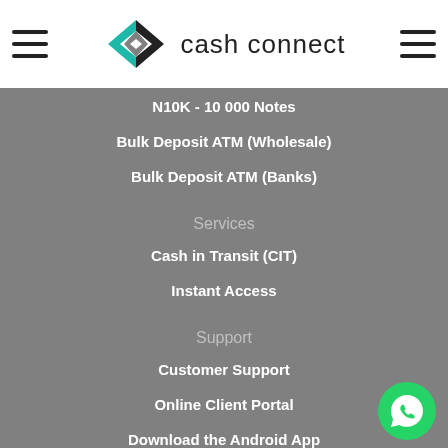[Figure (logo): Cash Connect logo with interlocking CC icon in black and teal, and 'cash connect' text]
N10K - 10 000 Notes
Bulk Deposit ATM (Wholesale)
Bulk Deposit ATM (Banks)
Services
Cash in Transit (CIT)
Instant Access
Support
Customer Support
Online Client Portal
Download the Android App
Download the iOS App
[Figure (illustration): Green circular WhatsApp phone button in bottom-right corner]